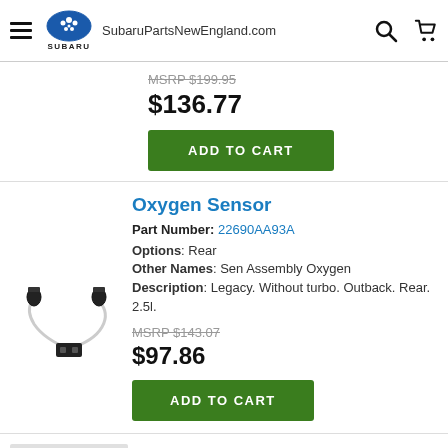SubaruPartsNewEngland.com
MSRP $199.95
$136.77
ADD TO CART
Oxygen Sensor
Part Number: 22690AA93A
Options: Rear
Other Names: Sen Assembly Oxygen
Description: Legacy. Without turbo. Outback. Rear. 2.5l.
[Figure (photo): Oxygen sensor part photo showing sensor with wiring]
MSRP $143.07
$97.86
ADD TO CART
Oxygen Sensor